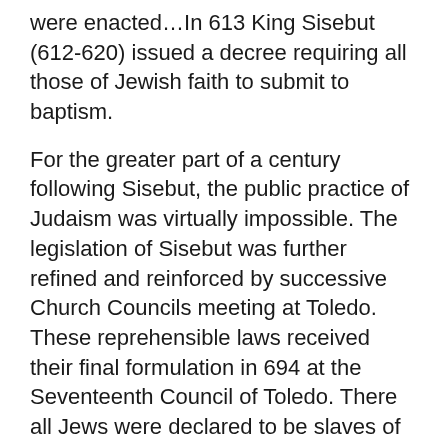were enacted...In 613 King Sisebut (612-620) issued a decree requiring all those of Jewish faith to submit to baptism.
For the greater part of a century following Sisebut, the public practice of Judaism was virtually impossible. The legislation of Sisebut was further refined and reinforced by successive Church Councils meeting at Toledo. These reprehensible laws received their final formulation in 694 at the Seventeenth Council of Toledo. There all Jews were declared to be slaves of Christians. Jewish children seven years and older were to be removed from their parents and placed in the custody of Christian homes or monasteries where they could be brought up as 'Christians.' The property that remained in the hands of Jews was to be confiscated. Those Jews who did submit to baptism were asked to demonstrate the